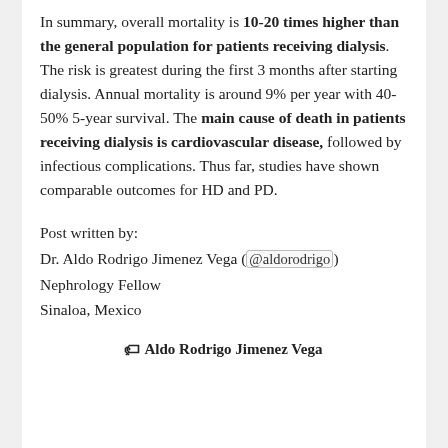In summary, overall mortality is 10-20 times higher than the general population for patients receiving dialysis. The risk is greatest during the first 3 months after starting dialysis. Annual mortality is around 9% per year with 40-50% 5-year survival. The main cause of death in patients receiving dialysis is cardiovascular disease, followed by infectious complications. Thus far, studies have shown comparable outcomes for HD and PD.
Post written by:
Dr. Aldo Rodrigo Jimenez Vega (@aldorodrigo)
Nephrology Fellow
Sinaloa, Mexico
Aldo Rodrigo Jimenez Vega